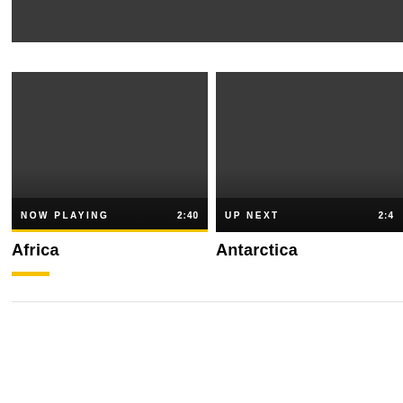[Figure (screenshot): Top dark video/image thumbnail bar, partially cropped, dark gray background]
[Figure (screenshot): Video thumbnail labeled NOW PLAYING with timestamp 2:40, dark gradient background with yellow bottom bar]
Africa
[Figure (screenshot): Video thumbnail labeled UP NEXT with timestamp 2:4x, dark gradient background, partially cropped on right]
Antarctica